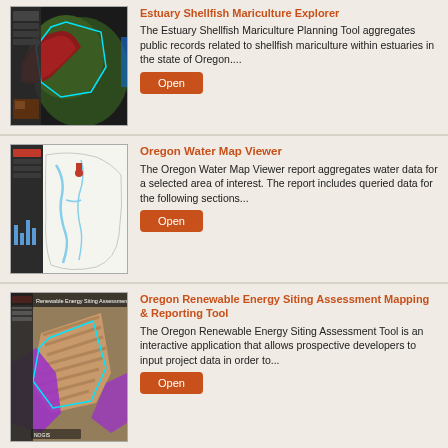[Figure (screenshot): Screenshot thumbnail of the Estuary Shellfish Mariculture Planning Tool showing a map with green and red areas and cyan polygon overlays]
Estuary Shellfish Mariculture Explorer
The Estuary Shellfish Mariculture Planning Tool aggregates public records related to shellfish mariculture within estuaries in the state of Oregon....
[Figure (screenshot): Screenshot thumbnail of Oregon Water Map Viewer showing a map with water features and a data panel with bar charts]
Oregon Water Map Viewer
The Oregon Water Map Viewer report aggregates water data for a selected area of interest. The report includes queried data for the following sections...
[Figure (screenshot): Screenshot thumbnail of Oregon Renewable Energy Siting Assessment Mapping and Reporting Tool showing an aerial map with purple and orange/brown striped areas]
Oregon Renewable Energy Siting Assessment Mapping & Reporting Tool
The Oregon Renewable Energy Siting Assessment Tool is an interactive application that allows prospective developers to input project data in order to...